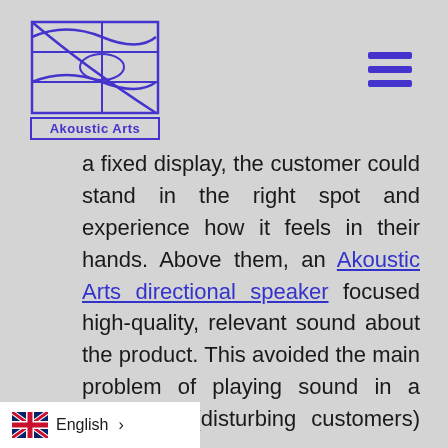[Figure (logo): Akoustic Arts logo — a square with grid lines and two crossing wave/curve shapes in purple/violet, with 'Akoustic Arts' text below in a bordered box]
[Figure (other): Hamburger menu icon — three horizontal purple bars stacked vertically]
a fixed display, the customer could stand in the right spot and experience how it feels in their hands. Above them, an Akoustic Arts directional speaker focused high-quality, relevant sound about the product. This avoided the main problem of playing sound in a bookstore (disturbing customers) while
English >